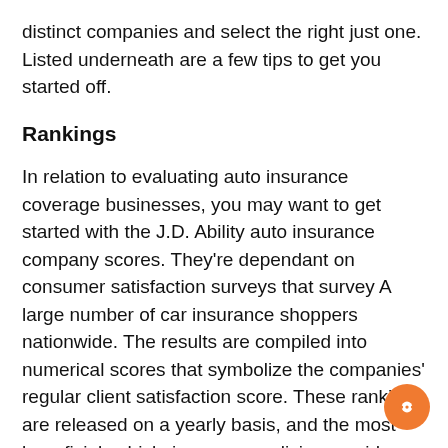distinct companies and select the right just one. Listed underneath are a few tips to get you started off.
Rankings
In relation to evaluating auto insurance coverage businesses, you may want to get started with the J.D. Ability auto insurance company scores. They’re dependant on consumer satisfaction surveys that survey A large number of car insurance shoppers nationwide. The results are compiled into numerical scores that symbolize the companies’ regular client satisfaction score. These rankings are released on a yearly basis, and the most beneficial vehicle insurance policies providers in Every class are awarded gold medals. But how do you know if the businesses you are looking at are any very good?
There are lots of methods To judge the economical toughness of car insurance plan companies. To begin w you may Test the AM Best insurance provider score, which